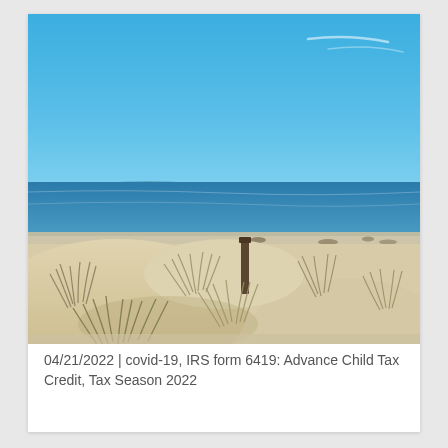[Figure (photo): A beach scene showing white sand dunes with sparse beach grass in the foreground, a calm blue ocean in the middle ground, and a bright blue sky with faint clouds in the background.]
04/21/2022  |  covid-19,  IRS form 6419: Advance Child Tax Credit,  Tax Season 2022